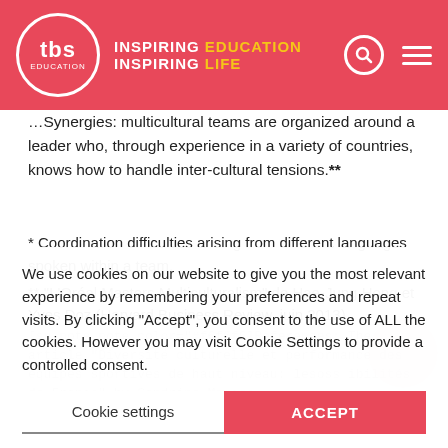tbs EDUCATION — INSPIRING EDUCATION INSPIRING LIFE
…Synergies: multicultural teams are organized around a leader who, through experience in a variety of countries, knows how to handle inter-cultural tensions.**
* Coordination difficulties arising from different languages spoken within a team.
** "L'Oréal Masters Multiculturalism" de Hae-Jung Hong et Yves Doz (Harvard Business Review, juin 2013).
We use cookies on our website to give you the most relevant experience by remembering your preferences and repeat visits. By clicking "Accept", you consent to the use of ALL the cookies. However you may visit Cookie Settings to provide a controlled consent.